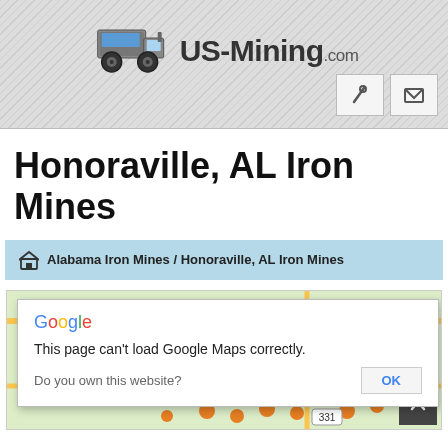[Figure (logo): US-Mining.com website header with mining truck logo and site name]
Honoraville, AL Iron Mines
Alabama Iron Mines / Honoraville, AL Iron Mines
[Figure (screenshot): Google Maps embed showing error dialog: 'This page can't load Google Maps correctly.' with OK button and 'Do you own this website?' prompt, over a partially visible map of Honoraville area]